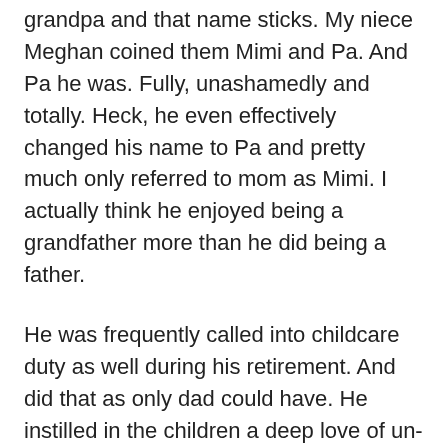grandpa and that name sticks. My niece Meghan coined them Mimi and Pa. And Pa he was. Fully, unashamedly and totally. Heck, he even effectively changed his name to Pa and pretty much only referred to mom as Mimi. I actually think he enjoyed being a grandfather more than he did being a father.
He was frequently called into childcare duty as well during his retirement. And did that as only dad could have. He instilled in the children a deep love of un-cut-up hotdogs, macaroni and cheese from the box and, as a delicacy – hot dogs cut up and put into macaroni and cheese from a box. And he loved all of his adventures and stories not only of the things he did with the grandkids but also of their successes and victories in life – athletic, academic and